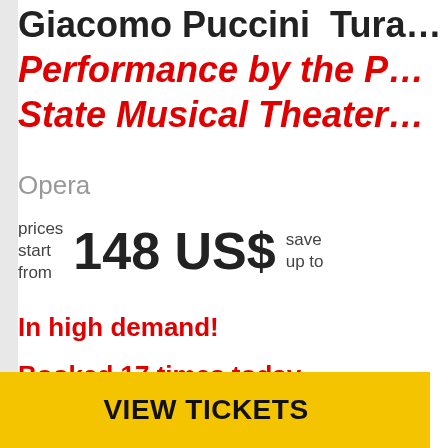Giacomo Puccini  Tura…
Performance by the P… State Musical Theater…
Opera
prices start from  148 US$  save up to
In high demand!
Booked 17 times today
VIEW TICKETS